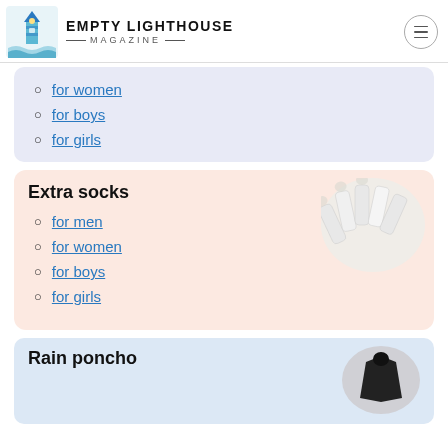EMPTY LIGHTHOUSE MAGAZINE
for women
for boys
for girls
Extra socks
[Figure (photo): A bundle of white ankle socks fanned out in a circular arrangement on a white background]
for men
for women
for boys
for girls
Rain poncho
[Figure (photo): A dark rain poncho/cape on a light background]